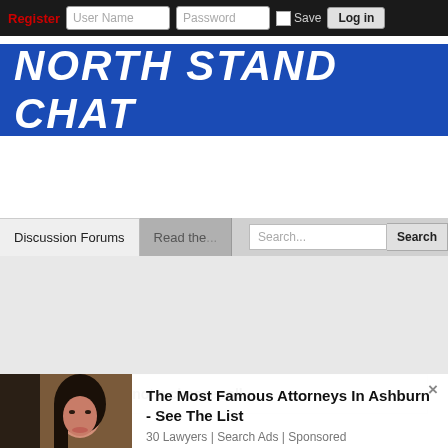Register  User Name  Password  Save  Log in
NORTH STAND CHAT
Discussion Forums  Read the...  Search...  Search
[Figure (photo): Advertisement showing a woman attorney. Text: The Most Famous Attorneys In Ashburn - See The List. 30 Lawyers | Search Ads | Sponsored]
Cheese roll or not a cheese roll